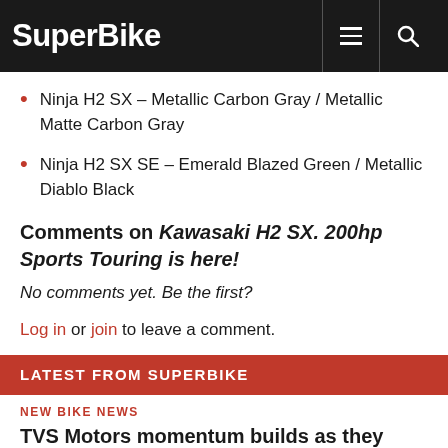SuperBike
Ninja H2 SX – Metallic Carbon Gray / Metallic Matte Carbon Gray
Ninja H2 SX SE – Emerald Blazed Green / Metallic Diablo Black
Comments on Kawasaki H2 SX. 200hp Sports Touring is here!
No comments yet. Be the first?
Log in or join to leave a comment.
LATEST FROM SUPERBIKE
NEW BIKE NEWS
TVS Motors momentum builds as they acquire